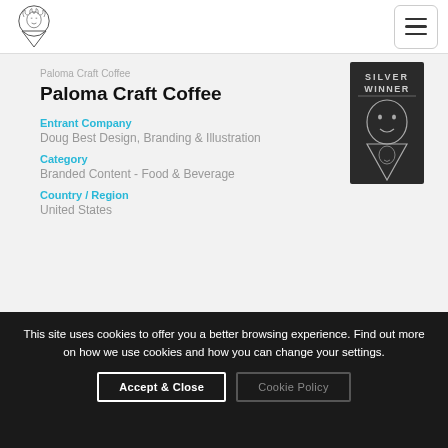Paloma Craft Coffee — site header with logo and hamburger menu
Paloma Craft Coffee
Paloma Craft Coffee
[Figure (logo): Silver Winner badge with illustrated face logo]
Entrant Company
Doug Best Design, Branding & Illustration
Category
Branded Content - Food & Beverage
Country / Region
United States
This site uses cookies to offer you a better browsing experience. Find out more on how we use cookies and how you can change your settings.
Accept & Close
Cookie Policy